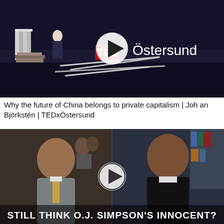[Figure (screenshot): TEDxÖstersund video thumbnail showing a speaker on a dark stage with red TED logo and 'Östersund' text visible, with a white play button overlay in the center.]
Why the future of China belongs to private capitalism | Johan Björkstén | TEDxÖstersund
[Figure (screenshot): Video thumbnail showing two men side by side — on the left a smiling man in a suit, on the right a man speaking, with a play button overlay and bold white text at the bottom reading 'STILL THINK O.J. SIMPSON'S INNOCENT?']